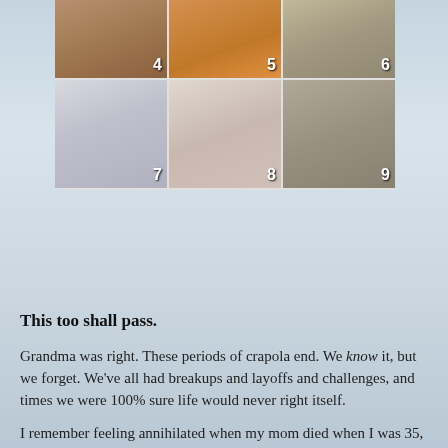[Figure (photo): A 3x2 grid of cat photos numbered 4 through 9. Top row: cat #4 lying on a surface, cat #5 orange tabby cat, cat #6 scene with objects. Bottom row: cat #7 fluffy white/grey cat, cat #8 close-up of cat nose through bars, cat #9 tabby cat making a face showing teeth.]
This too shall pass.
Grandma was right. These periods of crapola end. We know it, but we forget. We've all had breakups and layoffs and challenges, and times we were 100% sure life would never right itself.
I remember feeling annihilated when my mom died when I was 35, and terrified when I almost